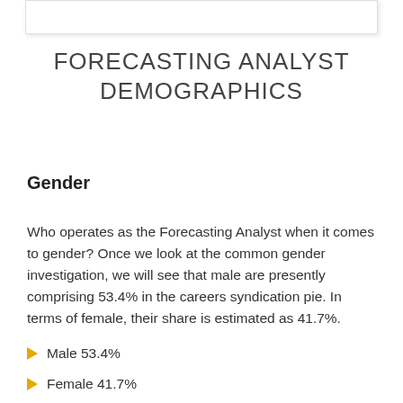FORECASTING ANALYST DEMOGRAPHICS
Gender
Who operates as the Forecasting Analyst when it comes to gender? Once we look at the common gender investigation, we will see that male are presently comprising 53.4% in the careers syndication pie. In terms of female, their share is estimated as 41.7%.
Male 53.4%
Female 41.7%